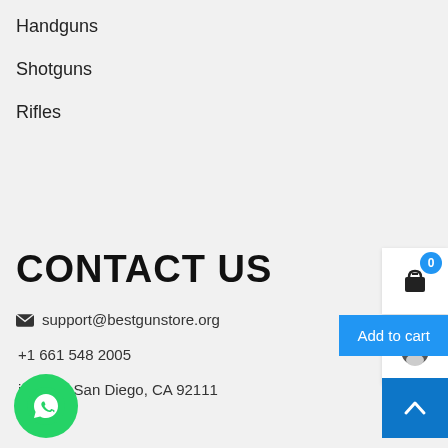Handguns
Shotguns
Rifles
CONTACT US
support@bestgunstore.org
+1 661 548 2005
iffner St.San Diego, CA 92111